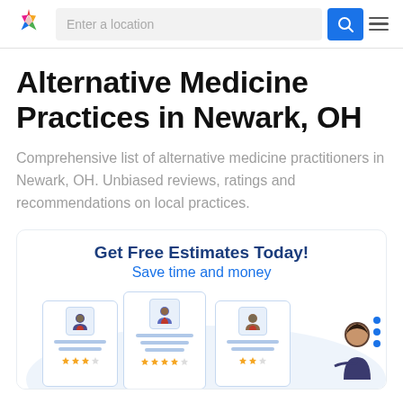Enter a location
Alternative Medicine Practices in Newark, OH
Comprehensive list of alternative medicine practitioners in Newark, OH. Unbiased reviews, ratings and recommendations on local practices.
[Figure (infographic): Promotional card with text 'Get Free Estimates Today!' and 'Save time and money', with an illustration showing three professional profile cards with photos, star ratings, and a person reviewing them. Scroll dots on the right side.]